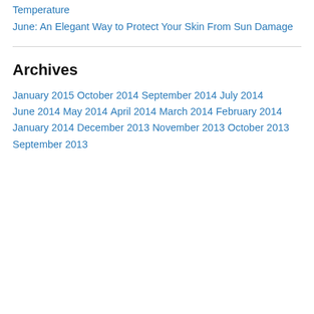Temperature
June: An Elegant Way to Protect Your Skin From Sun Damage
Archives
January 2015
October 2014
September 2014
July 2014
June 2014
May 2014
April 2014
March 2014
February 2014
January 2014
December 2013
November 2013
October 2013
September 2013